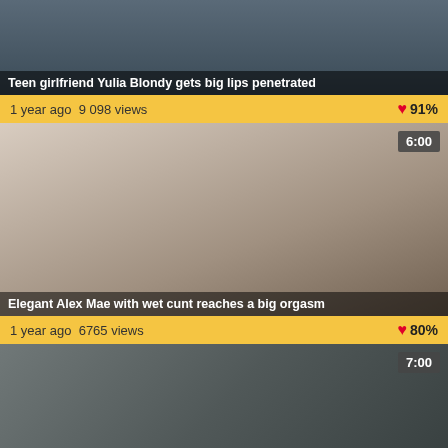[Figure (screenshot): Video thumbnail 1: Teen girlfriend Yulia Blondy gets big lips penetrated]
Teen girlfriend Yulia Blondy gets big lips penetrated
1 year ago  9 098 views
❤ 91%
[Figure (screenshot): Video thumbnail 2: Elegant Alex Mae with wet cunt reaches a big orgasm, duration 6:00]
Elegant Alex Mae with wet cunt reaches a big orgasm
1 year ago  6765 views
❤ 80%
[Figure (screenshot): Video thumbnail 3: duration 7:00]